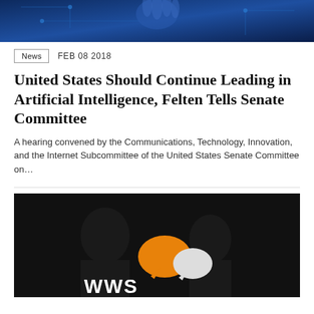[Figure (illustration): Blue digital technology illustration showing a robotic or digital hand with circuit board patterns on a dark blue background]
News   FEB 08 2018
United States Should Continue Leading in Artificial Intelligence, Felten Tells Senate Committee
A hearing convened by the Communications, Technology, Innovation, and the Internet Subcommittee of the United States Senate Committee on...
[Figure (illustration): Dark background image with silhouettes and orange/white speech bubble icons, text 'WWS' at the bottom]